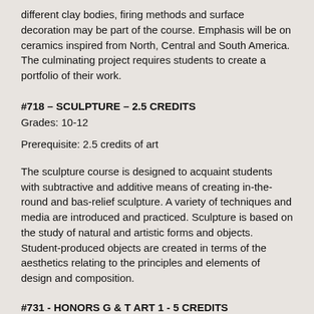different clay bodies, firing methods and surface decoration may be part of the course. Emphasis will be on ceramics inspired from North, Central and South America. The culminating project requires students to create a portfolio of their work.
#718 – SCULPTURE – 2.5 CREDITS
Grades: 10-12
Prerequisite: 2.5 credits of art
The sculpture course is designed to acquaint students with subtractive and additive means of creating in-the-round and bas-relief sculpture. A variety of techniques and media are introduced and practiced. Sculpture is based on the study of natural and artistic forms and objects. Student-produced objects are created in terms of the aesthetics relating to the principles and elements of design and composition.
#731 - HONORS G & T ART 1 - 5 CREDITS
Grades: 9-12